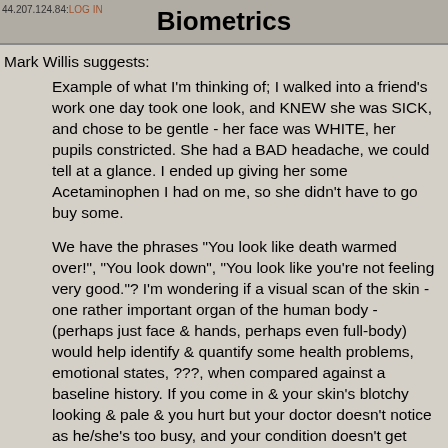44.207.124.84: LOG IN   Biometrics
Mark Willis suggests:
Example of what I'm thinking of; I walked into a friend's work one day took one look, and KNEW she was SICK, and chose to be gentle - her face was WHITE, her pupils constricted. She had a BAD headache, we could tell at a glance. I ended up giving her some Acetaminophen I had on me, so she didn't have to go buy some.
We have the phrases "You look like death warmed over!", "You look down", "You look like you're not feeling very good."? I'm wondering if a visual scan of the skin - one rather important organ of the human body - (perhaps just face & hands, perhaps even full-body) would help identify & quantify some health problems, emotional states, ???, when compared against a baseline history. If you come in & your skin's blotchy looking & pale & you hurt but your doctor doesn't notice as he/she's too busy, and your condition doesn't get treated, it's not good. They're using dogs to sniff out cancer cells, why not a very accurate camera?
I've seen some people I know darn near totally ignore their bodies & get to where they cannot (for example) close a car door anymore with one arm (weird, long story.) Some